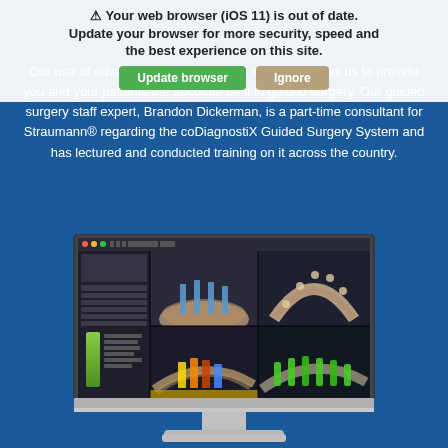Your web browser (iOS 11) is out of date. Update your browser for more security, speed and the best experience on this site.
Update browser   Ignore
Our use of advanced implant planning software allows us to provide you and your patients the absolute best in guided surgery. Our guided surgery staff expert, Brandon Dickerman, is a part-time consultant for Straumann® regarding the coDiagnostiX Guided Surgery System and has lectured and conducted training on it across the country.
[Figure (screenshot): Screenshot of coDiagnostiX dental implant planning software displayed on a desktop iMac-style monitor. The software shows multiple panels with CT scan views of jaw/dental anatomy, implant placements shown in green, and a 3D top-down view of dental arch.]